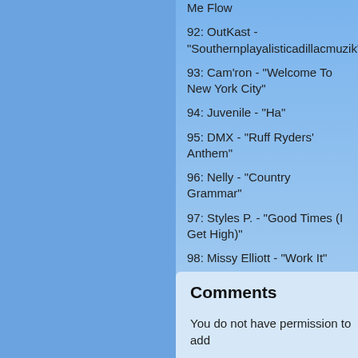Me Flow
92: OutKast - "Southernplayalisticadillacmuzik"
93: Cam'ron - "Welcome To New York City"
94: Juvenile - "Ha"
95: DMX - "Ruff Ryders' Anthem"
96: Nelly - "Country Grammar"
97: Styles P. - "Good Times (I Get High)"
98: Missy Elliott - "Work It"
99: Goodie Mob - "Cell Therapy"
100: Ludacris - "Southern Hospitality"
Comments
You do not have permission to add